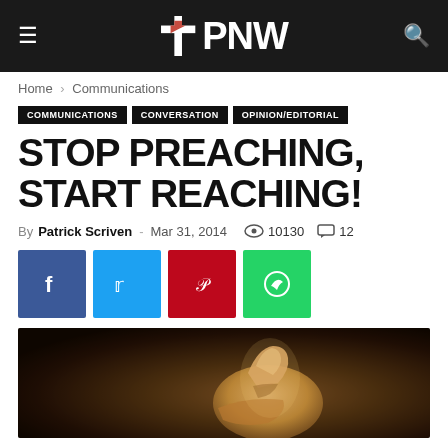PNW
Home › Communications
COMMUNICATIONS   CONVERSATION   OPINION/EDITORIAL
STOP PREACHING, START REACHING!
By Patrick Scriven - Mar 31, 2014   10130   12
[Figure (other): Social share buttons: Facebook (blue), Twitter (light blue), Pinterest (red), WhatsApp (green)]
[Figure (photo): Close-up photo of a hand pointing with index finger, dark moody background with warm amber tones]